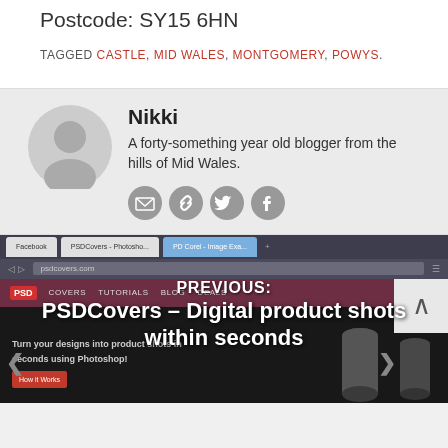Postcode: SY15 6HN
TAGGED CASTLE, MID WALES, MONTGOMERY, POWYS.
Nikki
A forty-something year old blogger from the hills of Mid Wales.
[Figure (other): Social media icons: email, link, twitter, facebook]
[Figure (screenshot): PREVIOUS: PSDCovers – Digital product shots within seconds. Screenshot of PSDCovers website showing browser tabs and product shot design tool.]